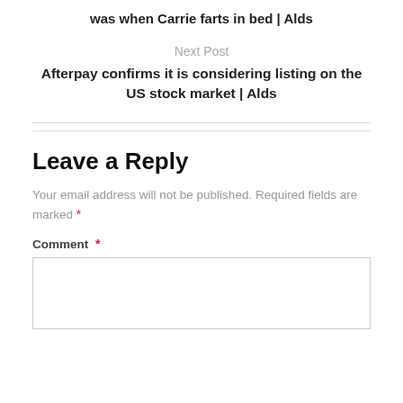was when Carrie farts in bed | Alds
Next Post
Afterpay confirms it is considering listing on the US stock market | Alds
Leave a Reply
Your email address will not be published. Required fields are marked *
Comment *